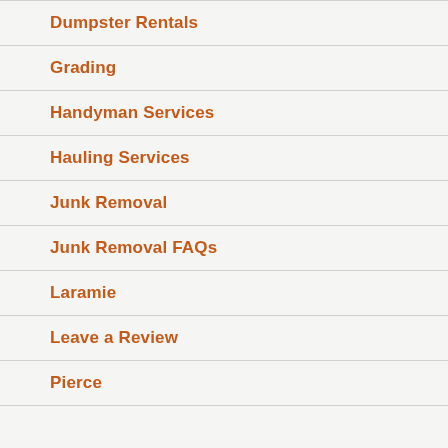Dumpster Rentals
Grading
Handyman Services
Hauling Services
Junk Removal
Junk Removal FAQs
Laramie
Leave a Review
Pierce